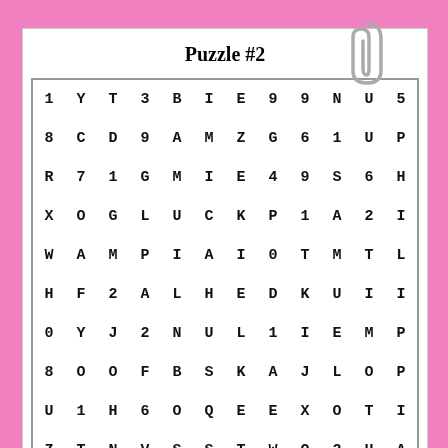Puzzle #2
| 1 | Y | T | 3 | B | I | E | 9 | 9 | N | U | 5 |
| 8 | C | D | 9 | A | M | Z | G | 6 | 1 | U | P |
| R | 7 | 1 | G | M | I | E | 4 | 9 | S | 6 | H |
| X | O | G | L | U | C | K | P | 1 | A | 2 | I |
| W | A | M | P | I | A | I | 0 | T | M | T | L |
| H | F | 2 | A | L | H | E | D | K | U | I | I |
| 0 | Y | J | 2 | N | U | L | 1 | I | E | M | P |
| 8 | O | O | F | B | S | K | A | J | L | O | P |
| U | 1 | H | 6 | O | Q | E | E | X | O | T | I |
| Z | T | N | V | S | S | T | W | Q | 2 | H | A |
| C | V | 8 | J | O | G | L | A | 8 | L | Y | N |